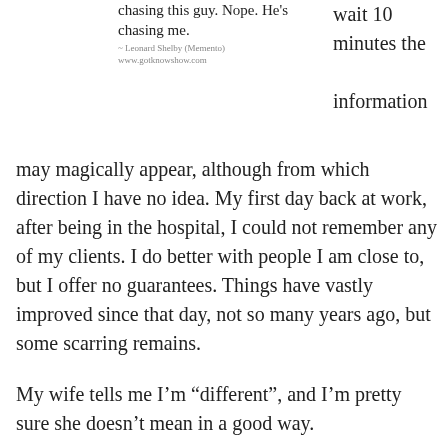chasing this guy. Nope. He's chasing me.
~ Leonard Shelby (Memento)
www.gotknowshow.com
wait 10 minutes the information may magically appear, although from which direction I have no idea. My first day back at work, after being in the hospital, I could not remember any of my clients. I do better with people I am close to, but I offer no guarantees. Things have vastly improved since that day, not so many years ago, but some scarring remains.
My wife tells me I'm “different”, and I’m pretty sure she doesn’t mean in a good way.
Like many of us, I have learned to cope. I use memory tricks like Linking and the Loci System that anyone can learn in 10 minutes. I keep a phone calendar with my wife. Friends who know me will remind me, gently, of what we discussed. Don't